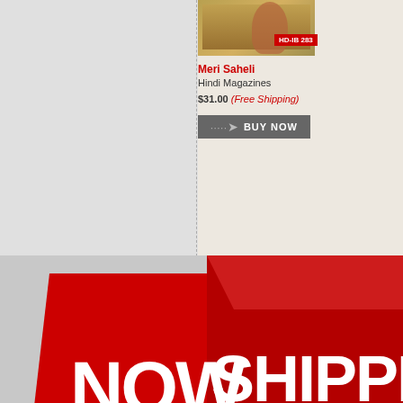[Figure (photo): Product image for Meri Saheli Hindi Magazine with HD-IB 283 badge]
Meri Saheli
Hindi Magazines
$31.00 (Free Shipping)
[Figure (illustration): Red promotional banner with 'NOW SHIPPING' text in white bold letters on red background]
shop
- NCBTMB Massage Training
- Indian Mixer Grinder
- Tamil Magazines subscription
- Bharathanatiyam Dance Jewelry
- Preethi Mixer USA
- Indian Festival Return Gifts
- Gemstone Jewelry
my account
- account information
- track your order
- gift certificates
- wish list
- view cart
- order history
Fulfillment Policy | Feedback | Terms Of Use | Return Polic…
Copyright © 2007 Hot dishes   Site De…